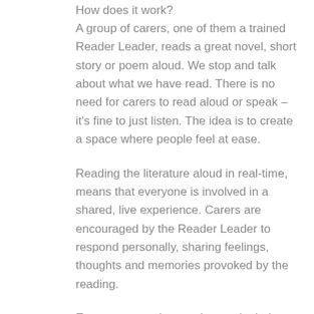How does it work?
A group of carers, one of them a trained Reader Leader, reads a great novel, short story or poem aloud. We stop and talk about what we have read. There is no need for carers to read aloud or speak – it's fine to just listen. The idea is to create a space where people feel at ease.
Reading the literature aloud in real-time, means that everyone is involved in a shared, live experience. Carers are encouraged by the Reader Leader to respond personally, sharing feelings, thoughts and memories provoked by the reading.
Everyone experiences the text in their own way, but the literature provides a shared language